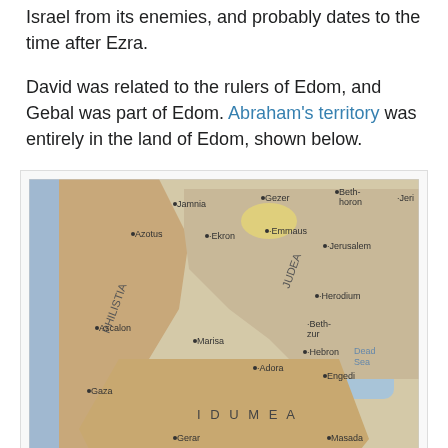Israel from its enemies, and probably dates to the time after Ezra.
David was related to the rulers of Edom, and Gebal was part of Edom. Abraham's territory was entirely in the land of Edom, shown below.
[Figure (map): Historical map of Judea and surrounding regions including Philistia, Idumea, and the Dead Sea, showing ancient settlements such as Hebron, Beersheba, Jerusalem, Gaza, Marisa, Gerar, and others.]
Both Hebron (where Sarah lived) and Beersheba (where Keturah lived) are in Idumea. Abraham's territory extended on a north-south axis between the settlements of his two